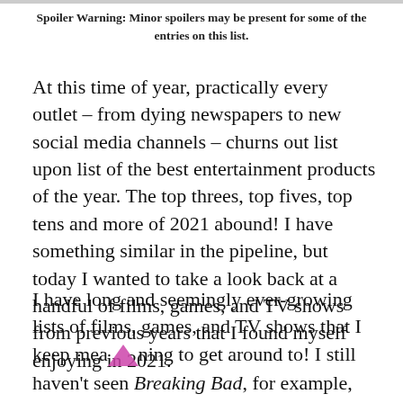Spoiler Warning: Minor spoilers may be present for some of the entries on this list.
At this time of year, practically every outlet – from dying newspapers to new social media channels – churns out list upon list of the best entertainment products of the year. The top threes, top fives, top tens and more of 2021 abound! I have something similar in the pipeline, but today I wanted to take a look back at a handful of films, games, and TV shows from previous years that I found myself enjoying in 2021.
I have long and seemingly ever-growing lists of films, games, and TV shows that I keep meaning to get around to! I still haven't seen Breaking Bad, for example, nor played The Witcher 3, despite the critical and commercial acclaim